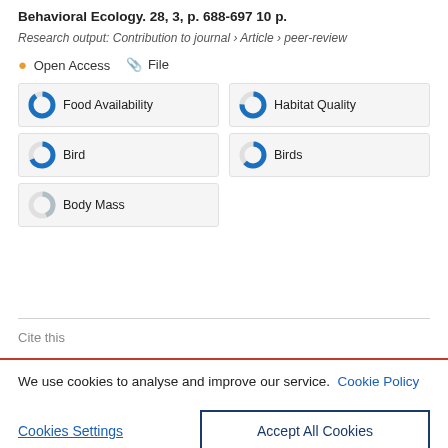Behavioral Ecology. 28, 3, p. 688-697 10 p.
Research output: Contribution to journal › Article › peer-review
Open Access   File
Food Availability
Habitat Quality
Bird
Birds
Body Mass
Cite this
We use cookies to analyse and improve our service. Cookie Policy
Cookies Settings
Accept All Cookies